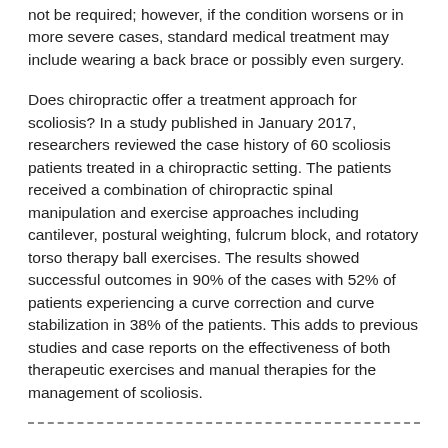not be required; however, if the condition worsens or in more severe cases, standard medical treatment may include wearing a back brace or possibly even surgery.
Does chiropractic offer a treatment approach for scoliosis? In a study published in January 2017, researchers reviewed the case history of 60 scoliosis patients treated in a chiropractic setting. The patients received a combination of chiropractic spinal manipulation and exercise approaches including cantilever, postural weighting, fulcrum block, and rotatory torso therapy ball exercises. The results showed successful outcomes in 90% of the cases with 52% of patients experiencing a curve correction and curve stabilization in 38% of the patients. This adds to previous studies and case reports on the effectiveness of both therapeutic exercises and manual therapies for the management of scoliosis.